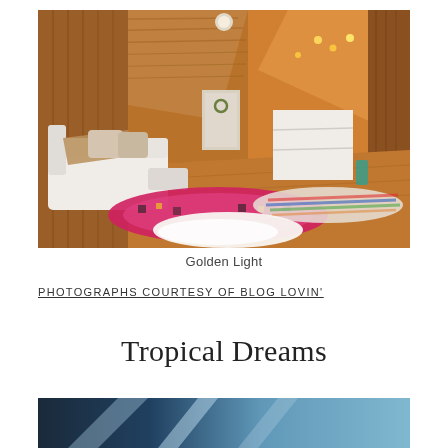[Figure (photo): Interior of a rustic wooden attic room with a white sofa draped with a knit throw, colorful pink Aztec-patterned rugs, a fluffy white sheepskin rug, string lights, a white shelving unit, and warm golden light. Wood plank walls and ceiling visible.]
Golden Light
PHOTOGRAPHS COURTESY OF BLOG LOVIN'
Tropical Dreams
[Figure (photo): Partial view of a tropical-themed photograph at the bottom of the page, showing blue and teal tones.]